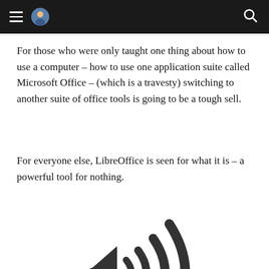navigation header with hamburger menu, avatar icon, and search icon
For those who were only taught one thing about how to use a computer – how to use one application suite called Microsoft Office – (which is a travesty) switching to another suite of office tools is going to be a tough sell.
For everyone else, LibreOffice is seen for what it is – a powerful tool for nothing.
[Figure (illustration): Large dark gray speaker/volume icon with sound waves emanating to the right, partially cropped at the bottom of the page.]